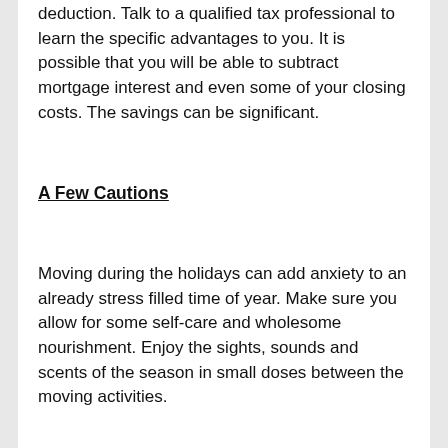deduction.  Talk to a qualified tax professional to learn the specific advantages to you.  It is possible that you will be able to subtract mortgage interest and even some of your closing costs.  The savings can be significant.
A Few Cautions
Moving during the holidays can add anxiety to an already stress filled time of year.  Make sure you allow for some self-care and wholesome nourishment.  Enjoy the sights, sounds and scents of the season in small doses between the moving activities.